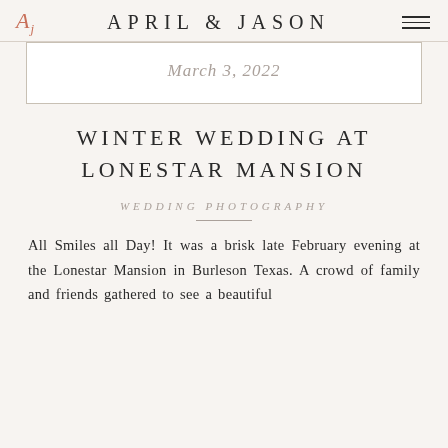APRIL & JASON
March 3, 2022
WINTER WEDDING AT LONESTAR MANSION
WEDDING PHOTOGRAPHY
All Smiles all Day! It was a brisk late February evening at the Lonestar Mansion in Burleson Texas. A crowd of family and friends gathered to see a beautiful...